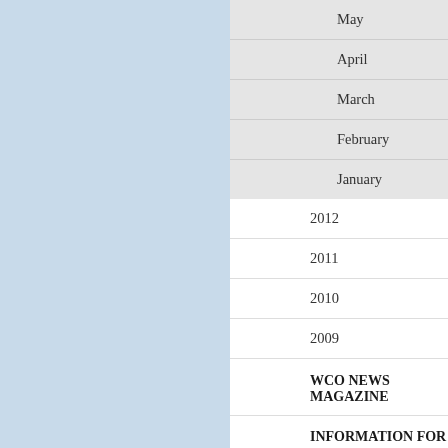May
April
March
February
January
2012
2011
2010
2009
WCO NEWS MAGAZINE
INFORMATION FOR JOURNALISTS, BUSINESSES, INDIVIDUALS AND TRAVELLERS
Secr... the Co... and by... Chemi... operat...
The U... that the... crucial... system...
As par... stresse... should... comm...
In his v... Classifi... his hop... WCO S... and Tr... specia... had re...
Develo...